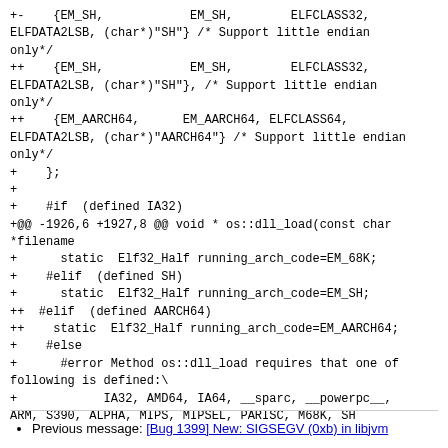+-    {EM_SH,            EM_SH,        ELFCLASS32,
ELFDATA2LSB, (char*)"SH"} /* Support little endian
only*/
++    {EM_SH,            EM_SH,        ELFCLASS32,
ELFDATA2LSB, (char*)"SH"}, /* Support little endian
only*/
++    {EM_AARCH64,      EM_AARCH64, ELFCLASS64,
ELFDATA2LSB, (char*)"AARCH64"} /* Support little endian
only*/
+    };
+
+    #if  (defined IA32)
+@@ -1926,6 +1927,8 @@ void * os::dll_load(const char *filename
+      static  Elf32_Half running_arch_code=EM_68K;
+    #elif  (defined SH)
+      static  Elf32_Half running_arch_code=EM_SH;
++  #elif  (defined AARCH64)
++    static  Elf32_Half running_arch_code=EM_AARCH64;
+    #else
+      #error Method os::dll_load requires that one of
following is defined:\
+            IA32, AMD64, IA64, __sparc, __powerpc__,
ARM, S390, ALPHA, MIPS, MIPSEL, PARISC, M68K, SH
Previous message: [Bug 1399] New: SIGSEGV (0xb) in libjvm